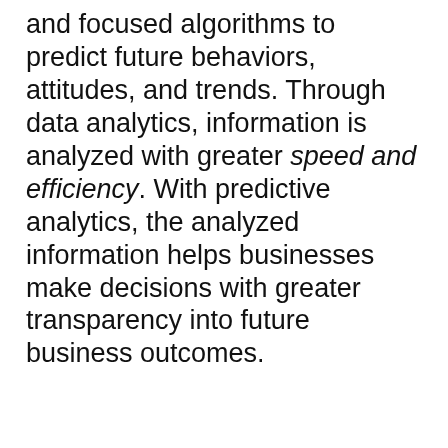and focused algorithms to predict future behaviors, attitudes, and trends. Through data analytics, information is analyzed with greater speed and efficiency. With predictive analytics, the analyzed information helps businesses make decisions with greater transparency into future business outcomes.
Businesses are clamoring to integrate
We use cookies on our website to give you the most relevant experience by remembering your preferences and repeat visits. By clicking “Accept”, you consent to the use of ALL the cookies.